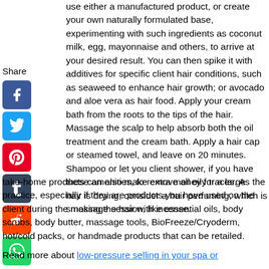use either a manufactured product, or create your own naturally formulated base, experimenting with such ingredients as coconut milk, egg, mayonnaise and others, to arrive at your desired result. You can then spike it with additives for specific client hair conditions, such as seaweed to enhance hair growth; or avocado and aloe vera as hair food. Apply your cream bath from the roots to the tips of the hair. Massage the scalp to help absorb both the oil treatment and the cream bath. Apply a hair cap or steamed towel, and leave on 20 minutes. Shampoo or let you client shower, if you have these amenities, to remove all oily traces. As the hair is drying, consider a hair perfuming, which is smoking the hair with incense.
[Figure (infographic): Social share sidebar with label 'Share' and icons for Facebook, Twitter, Pinterest, Tumblr, Reddit, WhatsApp]
take-home products can also make extra money for a large practice, especially if they are products you have used on the client during the massage session, like essential oils, body scrubs, body butter, massage tools, BioFreeze/Cryoderm, hot/cold packs, or handmade products that can be retailed.
Read more about low-pressure selling in your spa or